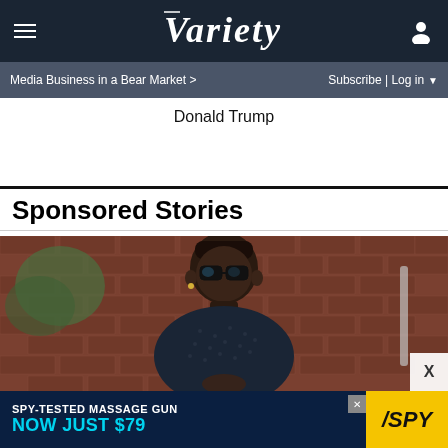Variety — Media Business in a Bear Market > | Subscribe | Log in
Donald Trump
Sponsored Stories
[Figure (photo): A man wearing thick black-framed glasses and a dark patterned button-up shirt, sitting against a brick wall background with greenery]
SPY-TESTED MASSAGE GUN NOW JUST $79 — SPY